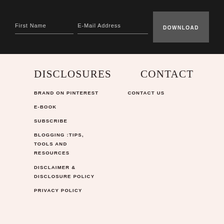First Name | E-Mail Address | DOWNLOAD
DISCLOSURES
CONTACT
BRAND ON PINTEREST
CONTACT US
E-BOOK
SUBSCRIBE
BLOGGING :TIPS, TOOLS AND RESOURCES
DISCLAIMER & DISCLOSURE POLICY
PRIVACY POLICY